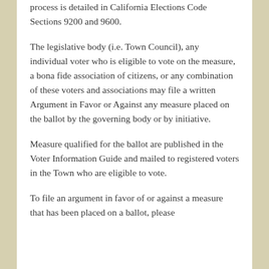process is detailed in California Elections Code Sections 9200 and 9600.
The legislative body (i.e. Town Council), any individual voter who is eligible to vote on the measure, a bona fide association of citizens, or any combination of these voters and associations may file a written Argument in Favor or Against any measure placed on the ballot by the governing body or by initiative.
Measure qualified for the ballot are published in the Voter Information Guide and mailed to registered voters in the Town who are eligible to vote.
To file an argument in favor of or against a measure that has been placed on a ballot, please